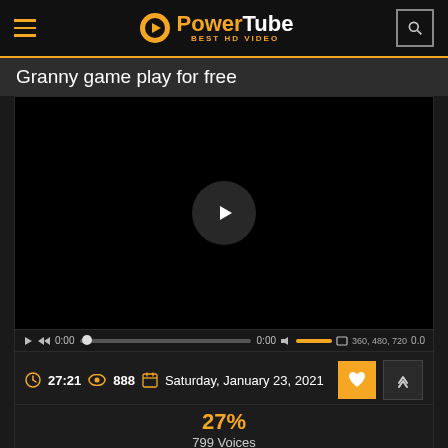[Figure (logo): PowerTube logo with orange camera shutter icon and text 'PowerTube BEST HD VIDEO']
Granny game play for free
[Figure (screenshot): Video player with black screen, play button in center, and playback controls bar showing 0:00 timecode, progress bar, volume, quality options 360, 480, 720]
27:21  888  Saturday, January 23, 2021
27%
799 Voices